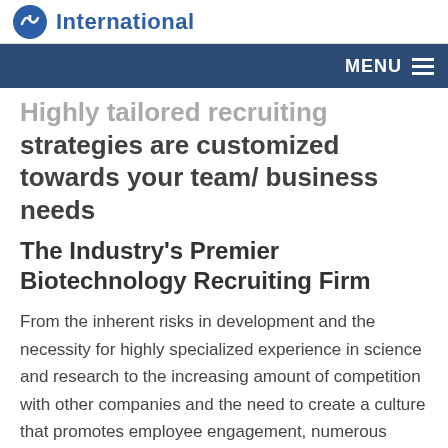International
MENU
Highly tailored recruiting strategies are customized towards your team/ business needs
The Industry's Premier Biotechnology Recruiting Firm
From the inherent risks in development and the necessity for highly specialized experience in science and research to the increasing amount of competition with other companies and the need to create a culture that promotes employee engagement, numerous roadblocks may arise when trying